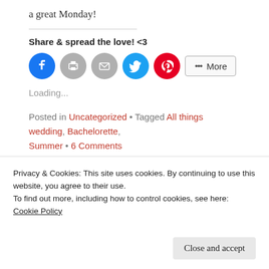a great Monday!
Share & spread the love! <3
[Figure (other): Social share buttons: Facebook (blue circle), Print (gray circle), Email (gray circle), Twitter (cyan circle), Pinterest (red circle), and a More button with share icon]
Loading...
Posted in Uncategorized • Tagged All things wedding, Bachelorette, Summer • 6 Comments
[Figure (other): Teal chevron/zigzag pattern footer band]
Privacy & Cookies: This site uses cookies. By continuing to use this website, you agree to their use.
To find out more, including how to control cookies, see here: Cookie Policy
Close and accept